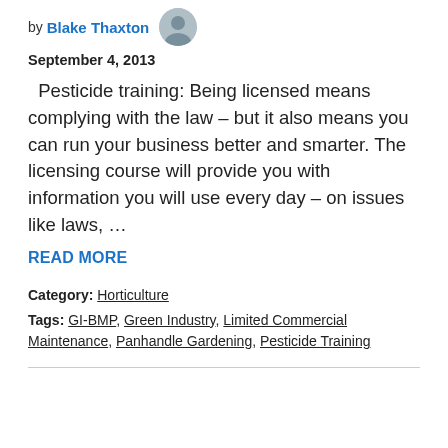by Blake Thaxton
September 4, 2013
Pesticide training: Being licensed means complying with the law – but it also means you can run your business better and smarter. The licensing course will provide you with information you will use every day – on issues like laws, …
READ MORE
Category: Horticulture
Tags: GI-BMP, Green Industry, Limited Commercial Maintenance, Panhandle Gardening, Pesticide Training